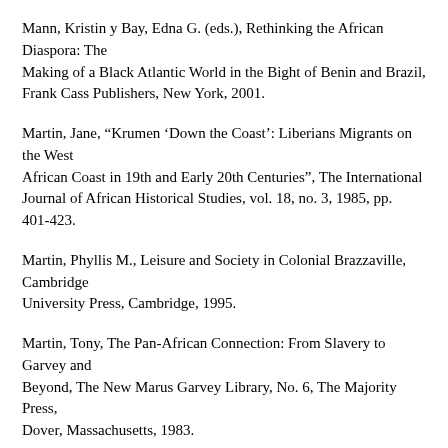Mann, Kristin y Bay, Edna G. (eds.), Rethinking the African Diaspora: The Making of a Black Atlantic World in the Bight of Benin and Brazil, Frank Cass Publishers, New York, 2001.
Martin, Jane, “Krumen ‘Down the Coast’: Liberians Migrants on the West African Coast in 19th and Early 20th Centuries”, The International Journal of African Historical Studies, vol. 18, no. 3, 1985, pp. 401-423.
Martin, Phyllis M., Leisure and Society in Colonial Brazzaville, Cambridge University Press, Cambridge, 1995.
Martin, Tony, The Pan-African Connection: From Slavery to Garvey and Beyond, The New Marus Garvey Library, No. 6, The Majority Press, Dover, Massachusetts, 1983.